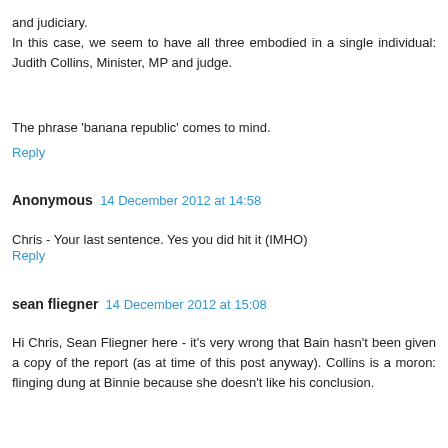and judiciary.
In this case, we seem to have all three embodied in a single individual: Judith Collins, Minister, MP and judge.
The phrase 'banana republic' comes to mind.
Reply
Anonymous  14 December 2012 at 14:58
Chris - Your last sentence. Yes you did hit it (IMHO)
Reply
sean fliegner  14 December 2012 at 15:08
Hi Chris, Sean Fliegner here - it's very wrong that Bain hasn't been given a copy of the report (as at time of this post anyway). Collins is a moron: flinging dung at Binnie because she doesn't like his conclusion.
But Chris, there is also a question on the matter of...